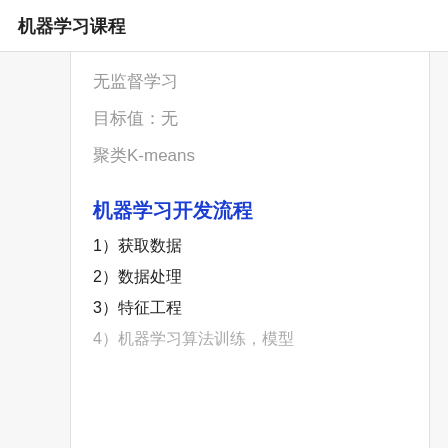机器学习课程
无监督学习
目标值：无
聚类K-means
机器学习开发流程
1）获取数据
2）数据处理
3）特征工程
4）机器学习算法训练，模型